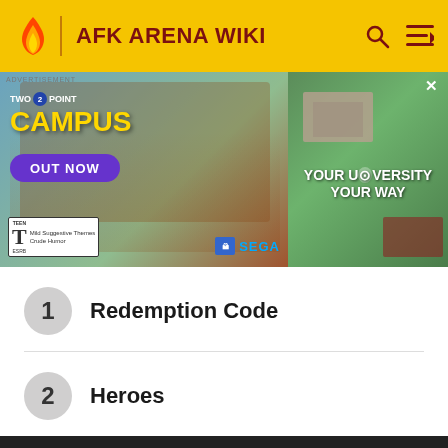AFK ARENA WIKI
[Figure (photo): Advertisement banner for Two Point Campus game (SEGA). Shows characters in front of a university gate with text 'OUT NOW', ESRB Teen rating (Mild Suggestive Themes, Crude Humor), and an aerial view of a campus with text 'YOUR UNIVERSITY YOUR WAY'.]
1 Redemption Code
2 Heroes
3 AFK ARENA ascension guide